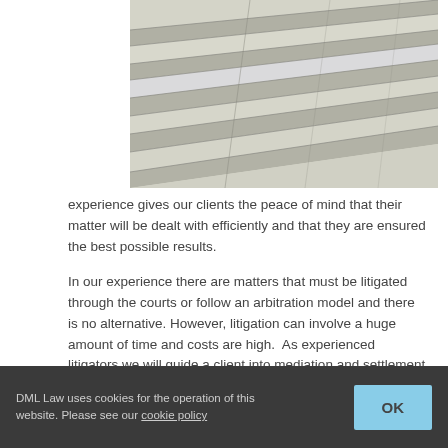[Figure (photo): Close-up photograph of marble courthouse steps, showing diagonal lines of pale grey stone steps.]
experience gives our clients the peace of mind that their matter will be dealt with efficiently and that they are ensured the best possible results.
In our experience there are matters that must be litigated through the courts or follow an arbitration model and there is no alternative. However, litigation can involve a huge amount of time and costs are high.  As experienced litigators we will guide a client into mediation and settlement negotiations when and if the time is right.
In many circumstances, we believe there is merit in referring a
DML Law uses cookies for the operation of this website. Please see our cookie policy